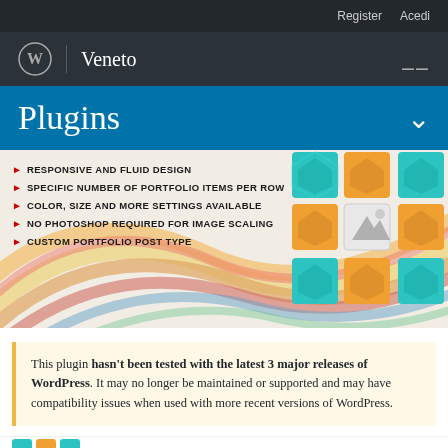Register  Acedi
WordPress | Veneto
Plugins
[Figure (screenshot): WordPress plugin feature banner showing colorful swirl background and a 3x3 grid of teal and orange gem icons with a white image placeholder in center. Lists features: RESPONSIVE AND FLUID DESIGN, SPECIFIC NUMBER OF PORTFOLIO ITEMS PER ROW, COLOR SIZE AND MORE SETTINGS AVAILABLE, NO PHOTOSHOP REQUIRED FOR IMAGE SCALING, CUSTOM PORTFOLIO POST TYPE]
RESPONSIVE AND FLUID DESIGN
SPECIFIC NUMBER OF PORTFOLIO ITEMS PER ROW
COLOR, SIZE AND MORE SETTINGS AVAILABLE
NO PHOTOSHOP REQUIRED FOR IMAGE SCALING
CUSTOM PORTFOLIO POST TYPE
This plugin hasn't been tested with the latest 3 major releases of WordPress. It may no longer be maintained or supported and may have compatibility issues when used with more recent versions of WordPress.